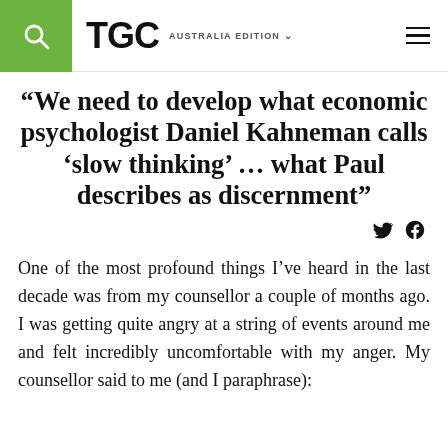TGC AUSTRALIA EDITION
“We need to develop what economic psychologist Daniel Kahneman calls ‘slow thinking’ … what Paul describes as discernment”
One of the most profound things I’ve heard in the last decade was from my counsellor a couple of months ago. I was getting quite angry at a string of events around me and felt incredibly uncomfortable with my anger. My counsellor said to me (and I paraphrase):